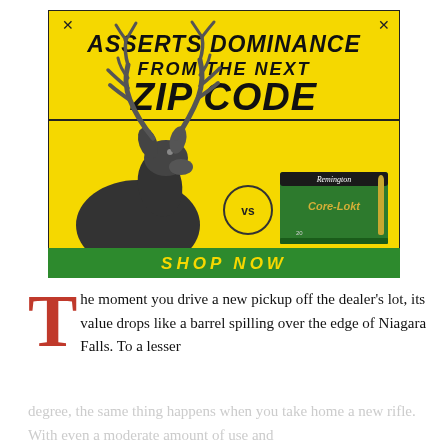[Figure (infographic): Remington Core-Lokt ammunition advertisement on yellow background. Large bold text reads 'ASSERTS DOMINANCE FROM THE NEXT ZIP CODE'. Features a black and white deer illustration on left, a Remington Core-Lokt ammo box on right, a circle with 'vs' in the middle, and a green banner at bottom reading 'SHOP NOW'. X marks in top-left and top-right corners.]
The moment you drive a new pickup off the dealer's lot, its value drops like a barrel spilling over the edge of Niagara Falls. To a lesser degree, the same thing happens when you take home a new rifle. With even a moderate amount of use and